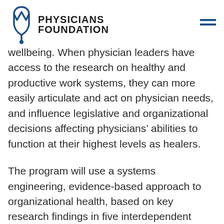Physicians Foundation
wellbeing. When physician leaders have access to the research on healthy and productive work systems, they can more easily articulate and act on physician needs, and influence legislative and organizational decisions affecting physicians’ abilities to function at their highest levels as healers.
The program will use a systems engineering, evidence-based approach to organizational health, based on key research findings in five interdependent areas (i.e., person, task, technology, physical and social environment and